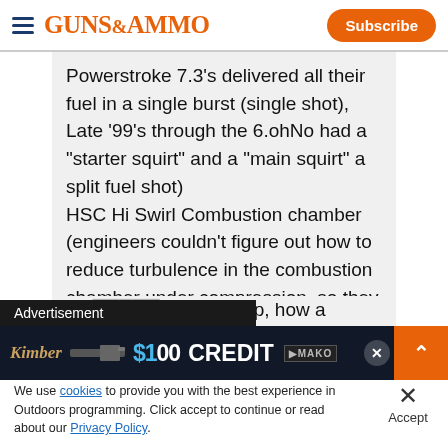GUNS&AMMO — Subscribe
Powerstroke 7.3's delivered all their fuel in a single burst (single shot), Late '99's through the 6.ohNo had a "starter squirt" and a "main squirt" a split fuel shot)
HSC Hi Swirl Combustion chamber (engineers couldn't figure out how to reduce turbulence in the combustion chamber under compression, so they renamed it)
HP...ure oil pump, how a
HP...
[Figure (screenshot): Advertisement banner overlay: '$100 CREDIT' text with Kimber logo and MAKO branding on dark background, with close and expand buttons]
We use cookies to provide you with the best experience in Outdoors programming. Click accept to continue or read about our Privacy Policy.